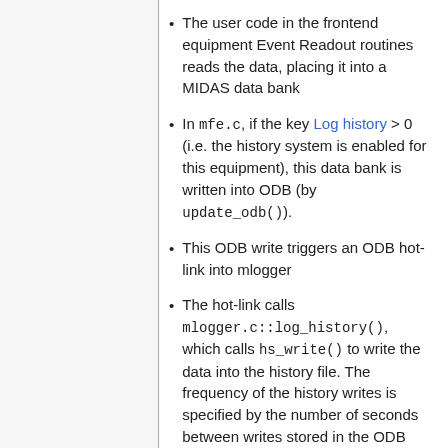The user code in the frontend equipment Event Readout routines reads the data, placing it into a MIDAS data bank
In mfe.c, if the key Log history > 0 (i.e. the history system is enabled for this equipment), this data bank is written into ODB (by update_odb()).
This ODB write triggers an ODB hot-link into mlogger
The hot-link calls mlogger.c::log_history(), which calls hs_write() to write the data into the history file. The frequency of the history writes is specified by the number of seconds between writes stored in the ODB key Log history.
history.c::hs_write() or history_odbc::hs_write_odbc() writes